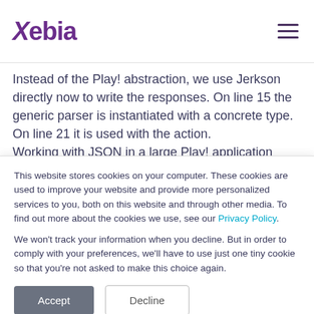Xebia
Instead of the Play! abstraction, we use Jerkson directly now to write the responses. On line 15 the generic parser is instantiated with a concrete type. On line 21 it is used with the action.
Working with JSON in a large Play! application becomes much easier with this approach!
This website stores cookies on your computer. These cookies are used to improve your website and provide more personalized services to you, both on this website and through other media. To find out more about the cookies we use, see our Privacy Policy.

We won't track your information when you decline. But in order to comply with your preferences, we'll have to use just one tiny cookie so that you're not asked to make this choice again.